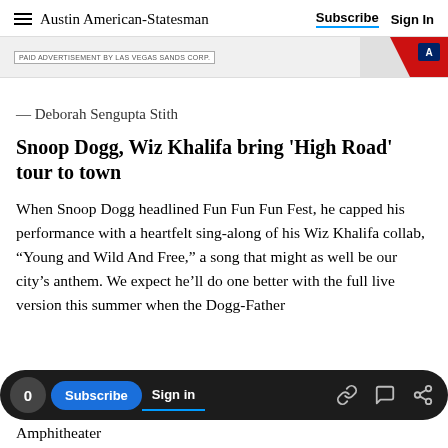Austin American-Statesman  Subscribe  Sign In
[Figure (other): Paid advertisement banner by Las Vegas Sands Corp. with red graphic element on the right]
— Deborah Sengupta Stith
Snoop Dogg, Wiz Khalifa bring 'High Road' tour to town
When Snoop Dogg headlined Fun Fun Fun Fest, he capped his performance with a heartfelt sing-along of his Wiz Khalifa collab, “Young and Wild And Free,” a song that might as well be our city’s anthem. We expect he’ll do one better with the full live version this summer when the Dogg-Father
0  Subscribe  Sign in  [link] [comment] [share]
Amphitheater